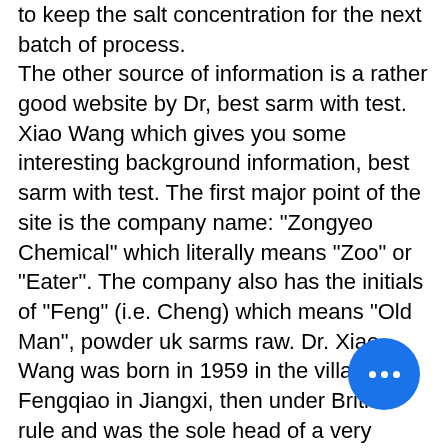to keep the salt concentration for the next batch of process. The other source of information is a rather good website by Dr, best sarm with test. Xiao Wang which gives you some interesting background information, best sarm with test. The first major point of the site is the company name: "Zongyeo Chemical" which literally means "Zoo" or "Eater". The company also has the initials of "Feng" (i.e. Cheng) which means "Old Man", powder uk sarms raw. Dr. Xiao Wang was born in 1959 in the village of Fengqiao in Jiangxi, then under British rule and was the sole head of a very young company. He was one of the original founders of Zongyeo Chemical Co. Ltd, best sarm stack lean mass. in 1963 and then the Chinese government gave him a contract under the General Agreement on Tariffs and Trade, best sarm stack lean mass. The first Zongyeo chemical firm was located